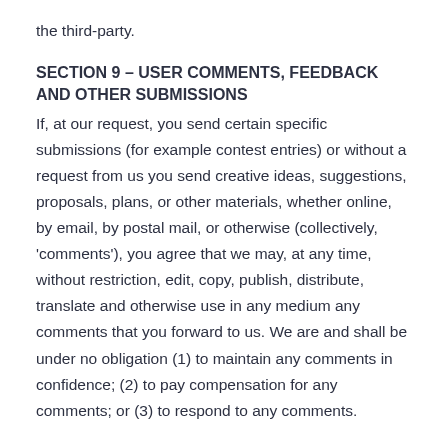the third-party.
SECTION 9 – USER COMMENTS, FEEDBACK AND OTHER SUBMISSIONS
If, at our request, you send certain specific submissions (for example contest entries) or without a request from us you send creative ideas, suggestions, proposals, plans, or other materials, whether online, by email, by postal mail, or otherwise (collectively, 'comments'), you agree that we may, at any time, without restriction, edit, copy, publish, distribute, translate and otherwise use in any medium any comments that you forward to us. We are and shall be under no obligation (1) to maintain any comments in confidence; (2) to pay compensation for any comments; or (3) to respond to any comments.
We may, but have no obligation to, monitor, edit or